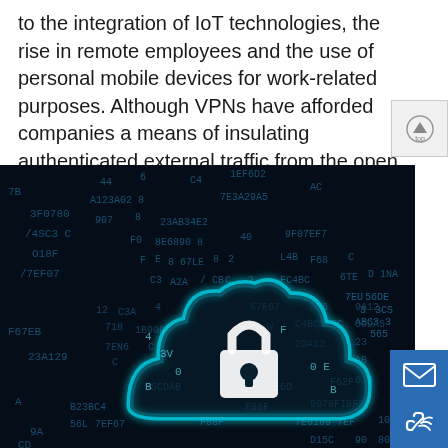to the integration of IoT technologies, the rise in remote employees and the use of personal mobile devices for work-related purposes. Although VPNs have afforded companies a means of insulating authenticated external traffic from the open internet, they are far from perfect.
[Figure (photo): Dark background with scattered hexadecimal/alphanumeric characters in teal/blue tones, with a glowing cyan cloud icon containing a padlock symbol in the center, representing cloud security or cybersecurity concept.]